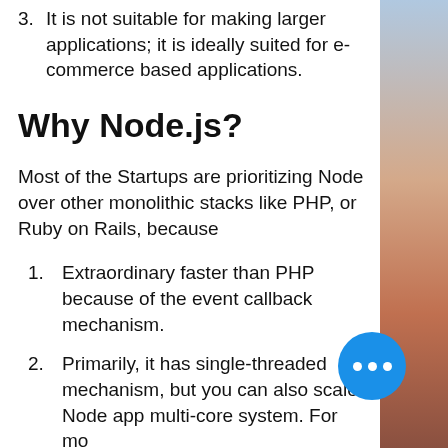3. It is not suitable for making larger applications; it is ideally suited for e-commerce based applications.
Why Node.js?
Most of the Startups are prioritizing Node over other monolithic stacks like PHP, or Ruby on Rails, because
1. Extraordinary faster than PHP because of the event callback mechanism.
2. Primarily, it has single-threaded mechanism, but you can also scale Node app multi-core system. For more information...